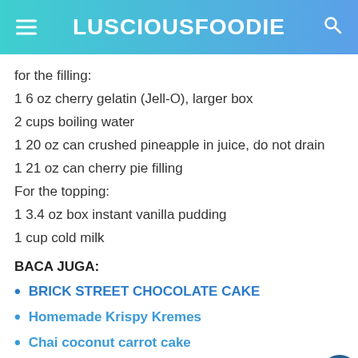LUSCIOUSFOODIE
for the filling:
1 6 oz cherry gelatin (Jell-O), larger box
2 cups boiling water
1 20 oz can crushed pineapple in juice, do not drain
1 21 oz can cherry pie filling
For the topping:
1 3.4 oz box instant vanilla pudding
1 cup cold milk
BACA JUGA:
BRICK STREET CHOCOLATE CAKE
Homemade Krispy Kremes
Chai coconut carrot cake
2 cups whipped topping COOL WHIP, thawed